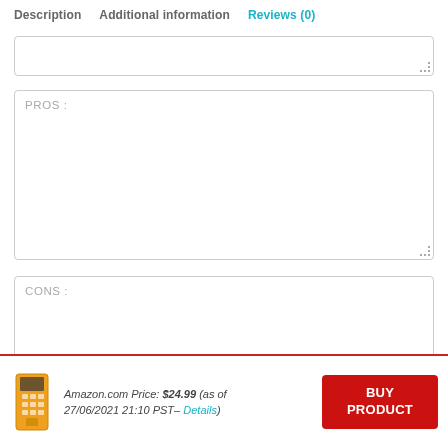Description   Additional information   Reviews (0)
[Figure (screenshot): Empty textarea input box (top, partially visible)]
PROS:
[Figure (screenshot): Empty textarea input box labeled PROS:]
CONS:
[Figure (screenshot): Empty textarea input box labeled CONS:]
Amazon.com Price: $24.99 (as of 27/06/2021 21:10 PST- Details) BUY PRODUCT